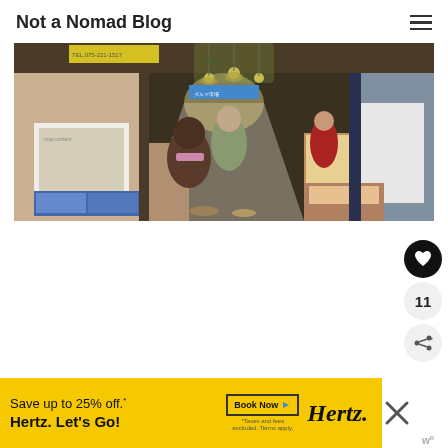Not a Nomad Blog
[Figure (photo): Indoor Japanese market alley with shops, hanging signs, vendors and shoppers walking through a narrow covered passage with colorful banners and display stalls on both sides.]
[Figure (infographic): Social interaction buttons: heart/like button (filled black circle with white heart icon), count badge showing 11, and share button (circle with share icon).]
[Figure (infographic): Hertz advertisement banner: 'Save up to 25% off.* Hertz. Let's Go!' with 'Book Now' button, asterisk noting 'Taxes and fees excluded. Terms apply.' and Hertz logo on yellow background. Close (X) button overlay and 'w' logo watermark.]